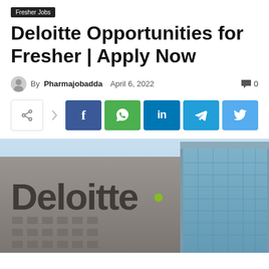Fresher Jobs
Deloitte Opportunities for Fresher | Apply Now
By Pharmajobadda   April 6, 2022   0
[Figure (screenshot): Social share buttons: share icon, Facebook, WhatsApp, LinkedIn, Telegram, Twitter]
[Figure (photo): Deloitte building exterior with large Deloitte logo and green dot, modern glass office building under blue sky]